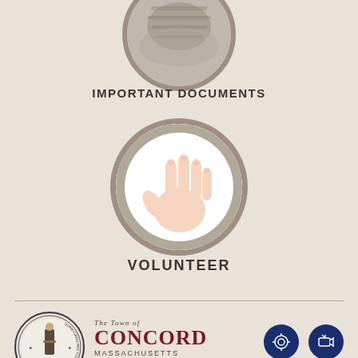[Figure (photo): Circular image partially cropped at top of page, appears to show a document or paper texture inside a round frame with stone/marble border]
IMPORTANT DOCUMENTS
[Figure (photo): Circular image showing an open human hand/palm raised, with fingers spread, inside a round stone/marble bordered frame]
VOLUNTEER
[Figure (logo): Official seal of the Town of Concord Massachusetts, circular seal with minuteman figure in center and text around the border]
The Town of CONCORD MASSACHUSETTS
[Figure (infographic): Dark navy circular button with white settings/gear icon]
[Figure (infographic): Dark navy circular button with white share/broadcast icon]